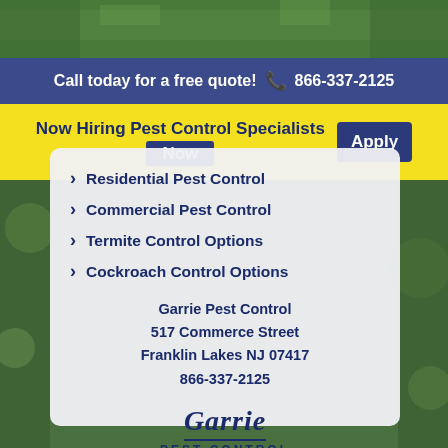[Figure (photo): Aerial/outdoor background photo of suburban neighborhood with green lawns and trees, shown at top and sides of page]
Call today for a free quote! 📞 866-337-2125
Now Hiring Pest Control Specialists Now  Apply
Residential Pest Control
Commercial Pest Control
Termite Control Options
Cockroach Control Options
Garrie Pest Control
517 Commerce Street
Franklin Lakes NJ 07417
866-337-2125
[Figure (logo): Garrie Pest Control logo with italic serif company name and PEST CONTROL text below, underlined]